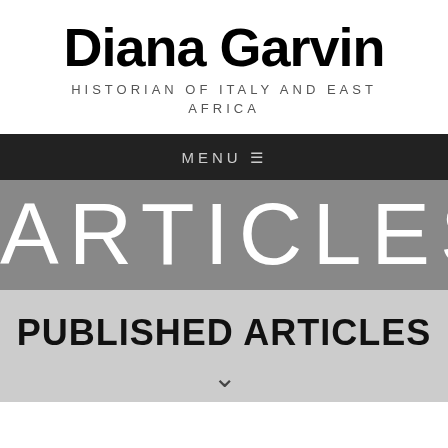Diana Garvin
HISTORIAN OF ITALY AND EAST AFRICA
MENU ≡
ARTICLES
PUBLISHED ARTICLES